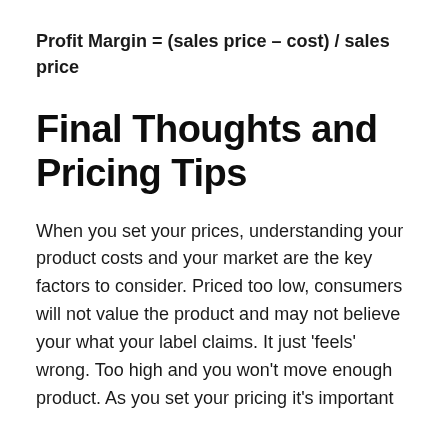Profit Margin = (sales price – cost) / sales price
Final Thoughts and Pricing Tips
When you set your prices, understanding your product costs and your market are the key factors to consider. Priced too low, consumers will not value the product and may not believe your what your label claims. It just 'feels' wrong. Too high and you won't move enough product. As you set your pricing it's important